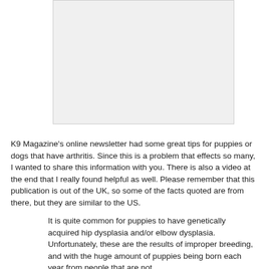[Figure (other): Image placeholder area — light gray rectangle representing an image or photo on the page]
K9 Magazine's online newsletter had some great tips for puppies or dogs that have arthritis.  Since this is a problem that effects so many, I wanted to share this information with you.  There is also a video at the end that I really found helpful as well.  Please remember that this publication is out of the UK, so some of the facts quoted are from there, but they are similar to the US.
It is quite common for puppies to have genetically acquired hip dysplasia and/or elbow dysplasia. Unfortunately, these are the results of improper breeding, and with the huge amount of puppies being born each year from people that are not